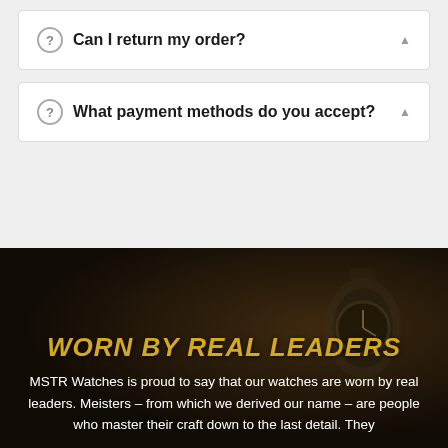Can I return my order?
What payment methods do you accept?
WORN BY REAL LEADERS
MSTR Watches is proud to say that our watches are worn by real leaders. Meisters – from which we derived our name – are people who master their craft down to the last detail. They